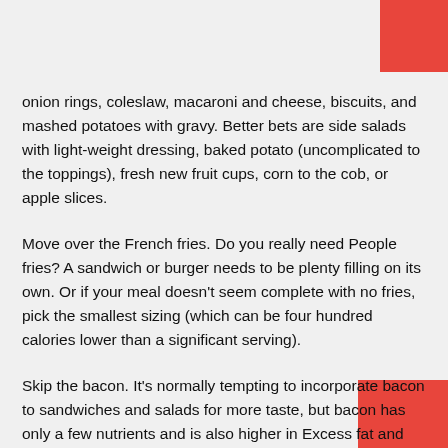onion rings, coleslaw, macaroni and cheese, biscuits, and mashed potatoes with gravy. Better bets are side salads with light-weight dressing, baked potato (uncomplicated to the toppings), fresh new fruit cups, corn to the cob, or apple slices.
Move over the French fries. Do you really need People fries? A sandwich or burger needs to be plenty filling on its own. Or if your meal doesn't seem complete with no fries, pick the smallest sizing (which can be four hundred calories lower than a significant serving).
Skip the bacon. It's normally tempting to incorporate bacon to sandwiches and salads for more taste, but bacon has only a few nutrients and is also higher in Excess fat and energy. As an alternative, attempt ordering extra pickles, onions, lettuce,